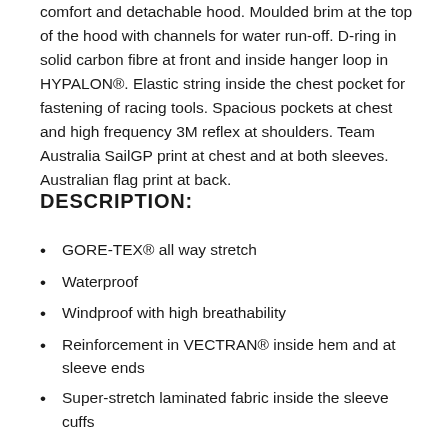comfort and detachable hood. Moulded brim at the top of the hood with channels for water run-off. D-ring in solid carbon fibre at front and inside hanger loop in HYPALON®. Elastic string inside the chest pocket for fastening of racing tools. Spacious pockets at chest and high frequency 3M reflex at shoulders. Team Australia SailGP print at chest and at both sleeves. Australian flag print at back.
DESCRIPTION:
GORE-TEX® all way stretch
Waterproof
Windproof with high breathability
Reinforcement in VECTRAN® inside hem and at sleeve ends
Super-stretch laminated fabric inside the sleeve cuffs